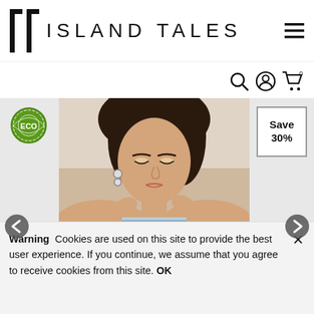ISLAND TALES
[Figure (photo): Fashion photo of a young woman with dark hair looking down, wearing a striped top, hands raised near her neck]
Save 30%
Warning   Cookies are used on this site to provide the best user experience. If you continue, we assume that you agree to receive cookies from this site. OK